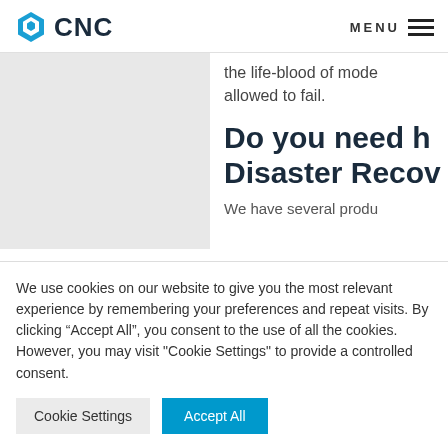CNC | MENU
[Figure (photo): Light gray placeholder image on the left side of the content area]
the life-blood of mode... allowed to fail.
Do you need h... Disaster Reco...
We have several produ...
We use cookies on our website to give you the most relevant experience by remembering your preferences and repeat visits. By clicking “Accept All”, you consent to the use of all the cookies. However, you may visit "Cookie Settings" to provide a controlled consent.